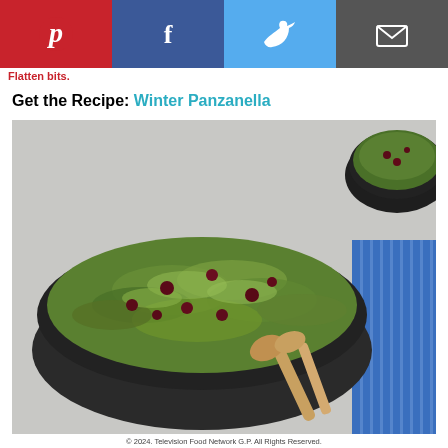[Figure (other): Social sharing bar with Pinterest, Facebook, Twitter, and Email buttons]
Flatten bits.
Get the Recipe: Winter Panzanella
[Figure (photo): A large black bowl filled with shaved Brussels sprouts salad with dried cranberries, being served with wooden spoons. A blue striped cloth napkin is visible at the right edge. A smaller serving bowl with the same salad is visible in the top right corner. The background is light gray/white.]
© 2024. Television Food Network G.P. All Rights Reserved.